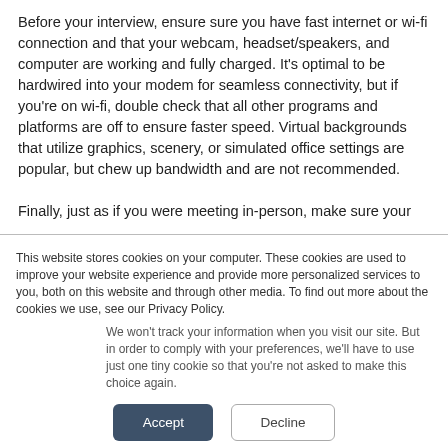Before your interview, ensure sure you have fast internet or wi-fi connection and that your webcam, headset/speakers, and computer are working and fully charged. It's optimal to be hardwired into your modem for seamless connectivity, but if you're on wi-fi, double check that all other programs and platforms are off to ensure faster speed. Virtual backgrounds that utilize graphics, scenery, or simulated office settings are popular, but chew up bandwidth and are not recommended.
Finally, just as if you were meeting in-person, make sure your
This website stores cookies on your computer. These cookies are used to improve your website experience and provide more personalized services to you, both on this website and through other media. To find out more about the cookies we use, see our Privacy Policy.
We won't track your information when you visit our site. But in order to comply with your preferences, we'll have to use just one tiny cookie so that you're not asked to make this choice again.